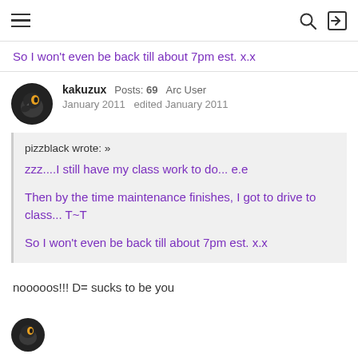Navigation bar with hamburger menu, search icon, and login icon
So I won't even be back till about 7pm est. x.x
kakuzux  Posts: 69  Arc User
January 2011  edited January 2011
pizzblack wrote: »
zzz....I still have my class work to do... e.e

Then by the time maintenance finishes, I got to drive to class... T~T

So I won't even be back till about 7pm est. x.x
nooooos!!! D= sucks to be you